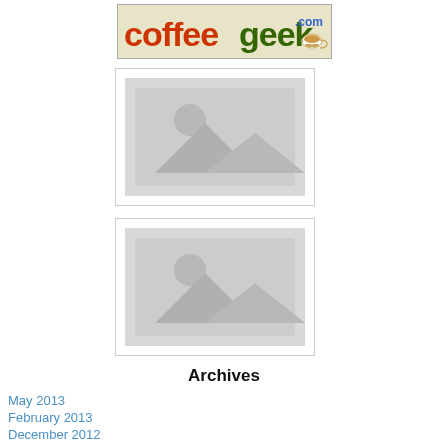[Figure (logo): CoffeeGeek.com logo with orange 'coffee' text and green 'geek' text on a tan/beige background]
[Figure (photo): Image placeholder with grey mountain/landscape icon]
[Figure (photo): Image placeholder with grey mountain/landscape icon]
Archives
May 2013
February 2013
December 2012